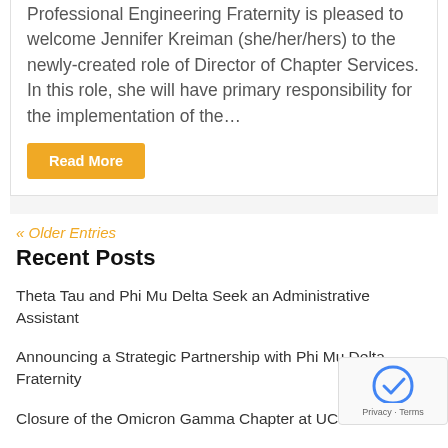Professional Engineering Fraternity is pleased to welcome Jennifer Kreiman (she/her/hers) to the newly-created role of Director of Chapter Services. In this role, she will have primary responsibility for the implementation of the…
Read More
« Older Entries
Recent Posts
Theta Tau and Phi Mu Delta Seek an Administrative Assistant
Announcing a Strategic Partnership with Phi Mu Delta Fraternity
Closure of the Omicron Gamma Chapter at UC Davis